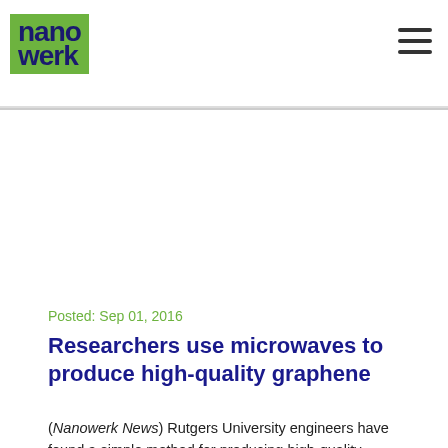nanowerk
Posted: Sep 01, 2016
Researchers use microwaves to produce high-quality graphene
(Nanowerk News) Rutgers University engineers have found a simple method for producing high-quality graphene that can be used in next-generation